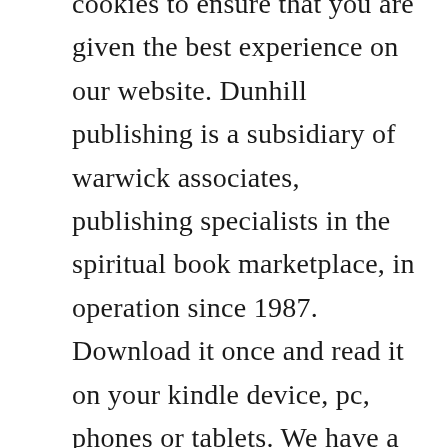cookies to ensure that you are given the best experience on our website. Dunhill publishing is a subsidiary of warwick associates, publishing specialists in the spiritual book marketplace, in operation since 1987. Download it once and read it on your kindle device, pc, phones or tablets. We have a great selection of books to inspire you, help you relax and improve your wellbeing. Like the famous bookshop, the magazine covers a wide range of subjects from contemporary spirituality and self development to mysticism